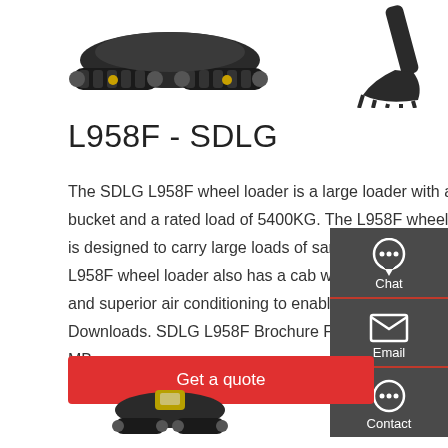[Figure (photo): Photo of a tracked heavy machine (excavator/loader undercarriage) viewed from above-front angle, dark colored]
[Figure (photo): Photo of an excavator bucket/arm attachment, partial view on right side]
L958F - SDLG
The SDLG L958F wheel loader is a large loader with a 3.2m bucket and a rated load of 5400KG. The L958F wheel loader is designed to carry large loads of sand and gravel. The L958F wheel loader also has a cab with 20% extra visibility and superior air conditioning to enable greater productivity. Downloads. SDLG L958F Brochure File type: pdf, Size: 1.21 MB.
[Figure (infographic): Side panel with chat, email and contact icons on dark grey background]
Get a quote
[Figure (photo): Partial photo of a tracked machine at the bottom of the page]